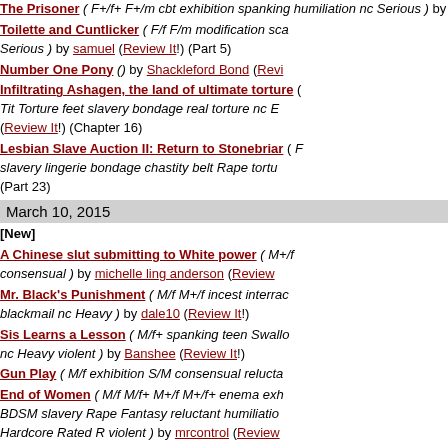The Prisoner ( F+/f+ F+/m cbt exhibition spanking humiliation nc Serious ) by Will Cane (Review It!)
Toilette and Cuntlicker ( F/f F/m modification sca... Serious ) by samuel (Review It!) (Part 5)
Number One Pony () by Shackleford Bond (Revi...
Infiltrating Ashagen, the land of ultimate torture ( Tit Torture feet slavery bondage real torture nc E... (Review It!) (Chapter 16)
Lesbian Slave Auction II: Return to Stonebriar ( F... slavery lingerie bondage chastity belt Rape tortu... (Part 23)
March 10, 2015
[New]
A Chinese slut submitting to White power ( M+/f ... consensual ) by michelle ling anderson (Review ...
Mr. Black's Punishment ( M/f M+/f incest interrac... blackmail nc Heavy ) by dale10 (Review It!)
Sis Learns a Lesson ( M/f+ spanking teen Swallo... nc Heavy violent ) by Banshee (Review It!)
Gun Play ( M/f exhibition S/M consensual relucta...
End of Women ( M/f M/f+ M+/f M+/f+ enema exh... BDSM slavery Rape Fantasy reluctant humiliatio... Hardcore Rated R violent ) by mrcontrol (Review...
A New Toy ( M/f toys S/M latex bondage Rape re... ) by Zionix Archal (Review It!)
Money Bags ( M+/f Tit Torture bondage torture n...
[Update]
Liz and the Wolves of Shahala ( M/f F/f bestiality... reluctant torture ) by Rasputtin Szczepanski (Rev...
Raised in a Female supremacist household ( F/m... chastity belt Fantasy consensual humiliation Ford... (Part 8)